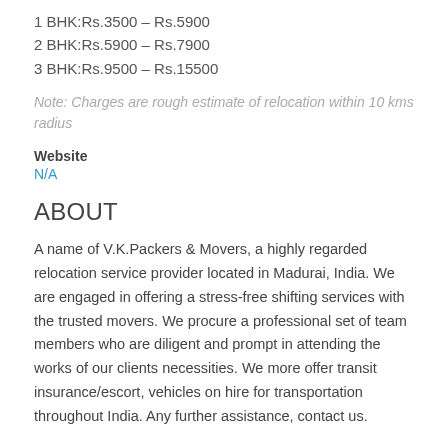1 BHK:Rs.3500 – Rs.5900
2 BHK:Rs.5900 – Rs.7900
3 BHK:Rs.9500 – Rs.15500
Note: Charges are rough estimate of relocation within 10 kms radius
Website
N/A
ABOUT
A name of V.K.Packers & Movers, a highly regarded relocation service provider located in Madurai, India. We are engaged in offering a stress-free shifting services with the trusted movers. We procure a professional set of team members who are diligent and prompt in attending the works of our clients necessities. We more offer transit insurance/escort, vehicles on hire for transportation throughout India. Any further assistance, contact us.
DEALS WITH
Air shipping